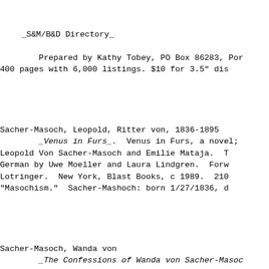_S&M/B&D Directory_
        Prepared by Kathy Tobey, PO Box 86283, Por
400 pages with 6,000 listings. $10 for 3.5" dis
Sacher-Masoch, Leopold, Ritter von, 1836-1895
        _Venus in Furs_.  Venus in Furs, a novel;
Leopold Von Sacher-Masoch and Emilie Mataja.  T
German by Uwe Moeller and Laura Lindgren.  Forw
Lotringer.  New York, Blast Books, c 1989.  210
"Masochism."  Sacher-Mashoch: born 1/27/1836, d
Sacher-Masoch, Wanda von
        _The Confessions of Wanda von Sacher-Masoc
of Leopold von Sacher-Masoch.  The first Englis
Marian Phillips, Caroline Hebert, and V. Vale.
San Francisco, c 1990.  126 pages.  ISBN: 0-940
$13.99 US.  Revised, expanded, annotated, and i